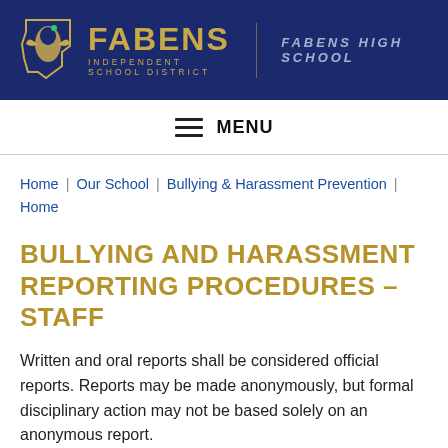[Figure (logo): Fabens Independent School District logo with golden eagle/bird on Texas state outline, dark navy background, gold text reading FABENS INDEPENDENT SCHOOL DISTRICT, and italic text FABENS HIGH SCHOOL]
MENU
Home | Our School | Bullying & Harassment Prevention | Home
BULLYING AND HARASSMENT REPORTING PROCEDURES – STAFF
Written and oral reports shall be considered official reports. Reports may be made anonymously, but formal disciplinary action may not be based solely on an anonymous report.